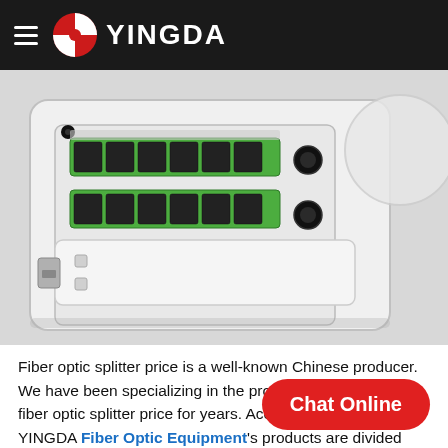YINGDA
[Figure (photo): Fiber optic splitter module in a white enclosure box, showing green SC/APC connectors and black adapters arranged in two rows, mounted in an open fiber distribution terminal.]
Fiber optic splitter price is a well-known Chinese producer. We have been specializing in the production and sales of fiber optic splitter price for years. According to the material, YINGDA Fiber Optic Equipment's products are divided into several d... transceivers is one of them. YINGDA Fiber Optic Equipment optical